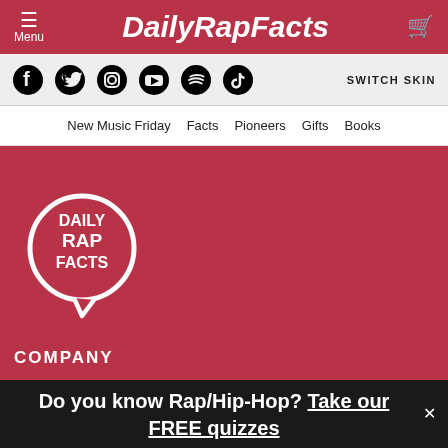DailyRapFacts
[Figure (screenshot): Social media icons: Facebook, Twitter, Instagram, YouTube, Spotify, TikTok with SWITCH SKIN label]
New Music Friday | Facts | Pioneers | Gifts | Books
[Figure (logo): Daily Rap Facts circular logo with speech bubble on red background]
COMPANY
Do you know Rap/Hip-Hop? Take our FREE quizzes